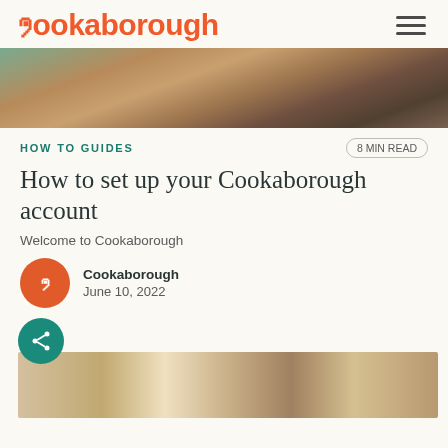Cookaborough
[Figure (photo): People working at a wooden table with laptops and drinks]
HOW TO GUIDES
8 MIN READ
How to set up your Cookaborough account
Welcome to Cookaborough
Cookaborough
June 10, 2022
[Figure (photo): Woman looking at laptop in kitchen setting, with share button overlay]